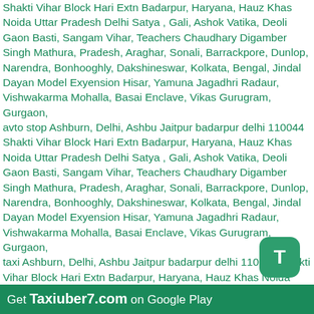Shakti Vihar Block Hari Extn Badarpur, Haryana, Hauz Khas Noida Uttar Pradesh Delhi Satya , Gali, Ashok Vatika, Deoli Gaon Basti, Sangam Vihar, Teachers Chaudhary Digamber Singh Mathura, Pradesh, Araghar, Sonali, Barrackpore, Dunlop, Narendra, Bonhooghly, Dakshineswar, Kolkata, Bengal, Jindal Dayan Model Exyension Hisar, Yamuna Jagadhri Radaur, Vishwakarma Mohalla, Basai Enclave, Vikas Gurugram, Gurgaon, avto stop Ashburn, Delhi, Ashbu Jaitpur badarpur delhi 110044 Shakti Vihar Block Hari Extn Badarpur, Haryana, Hauz Khas Noida Uttar Pradesh Delhi Satya , Gali, Ashok Vatika, Deoli Gaon Basti, Sangam Vihar, Teachers Chaudhary Digamber Singh Mathura, Pradesh, Araghar, Sonali, Barrackpore, Dunlop, Narendra, Bonhooghly, Dakshineswar, Kolkata, Bengal, Jindal Dayan Model Exyension Hisar, Yamuna Jagadhri Radaur, Vishwakarma Mohalla, Basai Enclave, Vikas Gurugram, Gurgaon, taxi Ashburn, Delhi, Ashbu Jaitpur badarpur delhi 110044 Shakti Vihar Block Hari Extn Badarpur, Haryana, Hauz Khas Noida Uttar Pradesh Delhi Satya , Gali, Ashok Vatika, Deoli Gaon Basti, Sangam Vihar, Teachers Chaudhary Digamber Singh Mathura, Pradesh, Araghar, Sonali, Barrackpore, Dunlop, Narendra, Bonhooghly, Dakshineswar, Kolkata, Bengal, Jindal Dayan Model Exyension Hisar, Yamuna Jagadhri Radaur, Vishwakarma Mohalla, Basai Enclave, Vikas Gurugram, Gurgaon, 2022 Indriver Ashburn, Delhi, Ashbu Jaitpur badarpur delhi 110044 Shakti Vihar Block Hari Uttar Pradesh Delhi Satya, Gali, Ashok Vatika, Deoli Gaon Basti, Sangam Vihar,
[Figure (other): Green rounded square app icon with white letter T]
Get Taxiuber7.com on Google Play